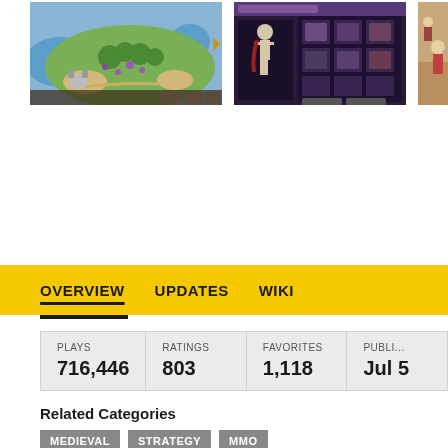[Figure (screenshot): Game screenshot showing an overhead map view with islands, forests, buildings, and a castle on a colorful terrain]
[Figure (screenshot): Game screenshot showing a dark fantasy UI with character inventory grid and a skeleton/warrior character]
[Figure (screenshot): Partial game screenshot showing a room/battle scene with characters]
OVERVIEW   UPDATES   WIKI
| PLAYS | RATINGS | FAVORITES | PUBLI... |
| --- | --- | --- | --- |
| 716,446 | 803 | 1,118 | Jul 5 |
Related Categories
MEDIEVAL   STRATEGY   MMO
Description